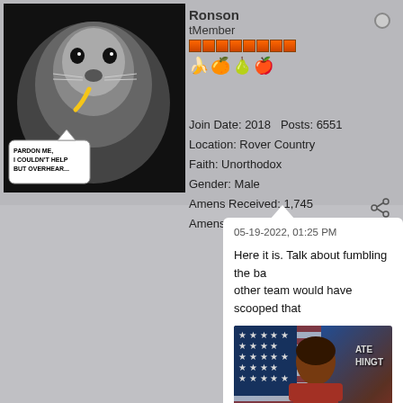[Figure (screenshot): Forum post screenshot showing user profile with avatar (seal meme image with speech bubble 'PARDON ME, I COULDN'T HELP BUT OVERHEAR...'), username Ronson, Member type, rank bars, fruit emojis, join date 2018, Posts: 6551, Location: Rover Country, Faith: Unorthodox, Amens Received: 1,745, Amens Given: 915, post dated 05-19-2022 01:25 PM with text about fumbling the ball and an embedded video thumbnail of a woman at a White House briefing]